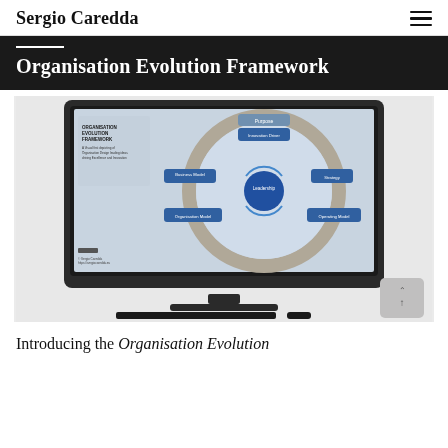Sergio Caredda
Organisation Evolution Framework
[Figure (screenshot): A screenshot displayed on a dark iMac monitor showing the Organisation Evolution Framework diagram — a circular framework with a large wheel containing blue boxes labeled: Business Model, Strategy, Organisation Model, Operating Model, Leadership, Innovation Driver, and at the top: Purpose. The background of the slide is light blue/grey. The left side shows text: ORGANISATION EVOLUTION FRAMEWORK — A Visual first depicting of Organisation Design leading ideas driving Excellence and Innovation.]
Introducing the Organisation Evolution